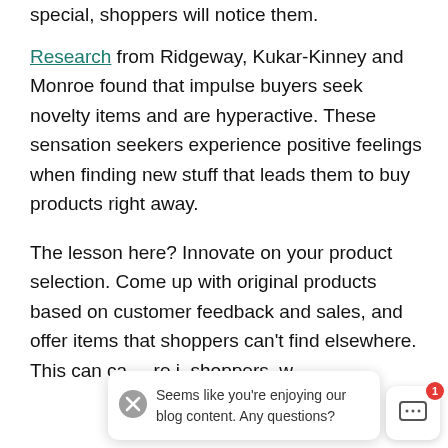special, shoppers will notice them.
Research from Ridgeway, Kukar-Kinney and Monroe found that impulse buyers seek novelty items and are hyperactive. These sensation seekers experience positive feelings when finding new stuff that leads them to buy products right away.
The lesson here? Innovate on your product selection. Come up with original products based on customer feedback and sales, and offer items that shoppers can't find elsewhere. This can ca... [it] shoppers, w...
Seems like you're enjoying our blog content. Any questions?